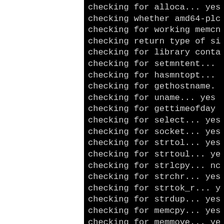[Figure (screenshot): Terminal/console output showing a series of autoconf configure script checks on a black background. The left portion of the page is white (cropped/clipped view). Lines include checking for alloca, amd64-plo, working memcn, return type of si, library conta, setmntent, hasmntopt, gethostname, uname, gettimeofday, select, socket, strtol, strtoul, strlcpy, strchr, strtok_r, strdup, memcpy, memmove, index, bcopy, strcasestr, regcomp — all truncated on the right side.]